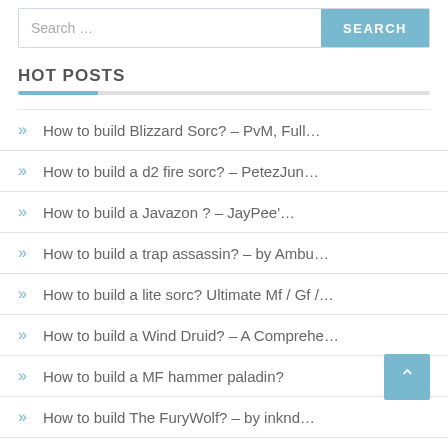Search ...
HOT POSTS
How to build Blizzard Sorc? – PvM, Full…
How to build a d2 fire sorc? – PetezJun…
How to build a Javazon ? – JayPee'…
How to build a trap assassin? – by Ambu…
How to build a lite sorc? Ultimate Mf / Gf /…
How to build a Wind Druid? – A Comprehe…
How to build a MF hammer paladin?
How to build The FuryWolf? – by inknd…